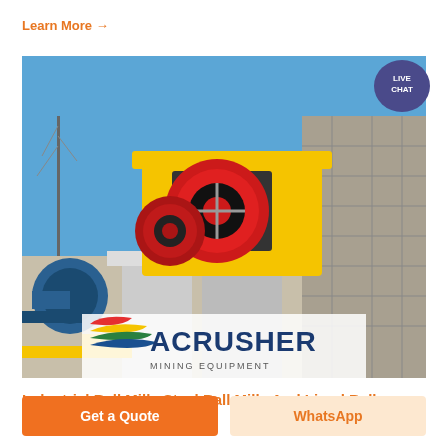Learn More →
[Figure (photo): Yellow and red jaw crusher / mining equipment mounted on concrete blocks at a quarry site, with ACRUSHER MINING EQUIPMENT logo overlay at the bottom. Blue sky background, stone wall on right, blue industrial machinery on left.]
Industrial Ball Mills Steel Ball Mills And Lined Ball
Get a Quote
WhatsApp